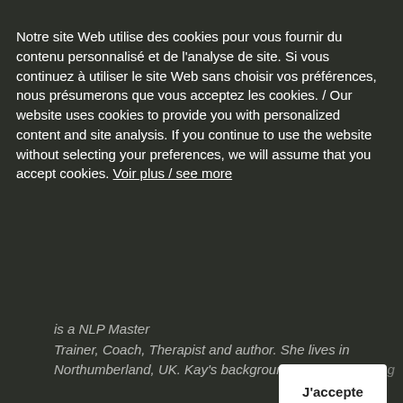Notre site Web utilise des cookies pour vous fournir du contenu personnalisé et de l'analyse de site. Si vous continuez à utiliser le site Web sans choisir vos préférences, nous présumerons que vous acceptez les cookies. / Our website uses cookies to provide you with personalized content and site analysis. If you continue to use the website without selecting your preferences, we will assume that you accept cookies. Voir plus / see more
J'accepte
is a NLP Master Trainer, Coach, Therapist and author. She lives in Northumberland, UK. Kay's background includes working
READ MORE »
NLP TRAINER - COACH - HYPNOTHERAPIST
[Figure (photo): Outdoor nature photo with green leaves and sky in background, partially visible behind UI overlays]
NLP TRAINER - COACH
We're offline
Leave a message